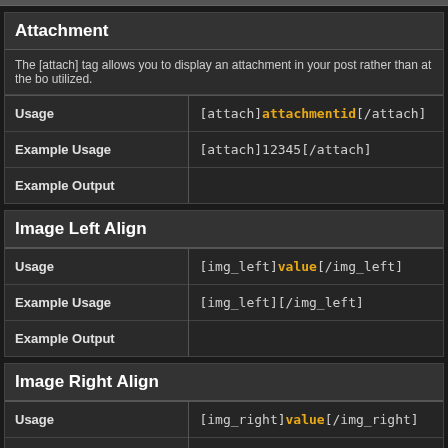Attachment
The [attach] tag allows you to display an attachment in your post rather than at the bo utilized.
|  |  |
| --- | --- |
| Usage | [attach]attachmentid[/attach] |
| Example Usage | [attach]12345[/attach] |
| Example Output |  |
Image Left Align
|  |  |
| --- | --- |
| Usage | [img_left]value[/img_left] |
| Example Usage | [img_left][/img_left] |
| Example Output |  |
Image Right Align
|  |  |
| --- | --- |
| Usage | [img_right]value[/img_right] |
| Example Usage |  |